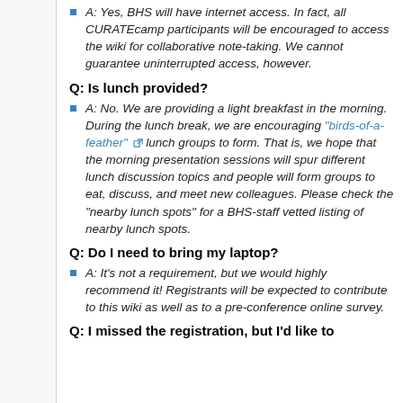A: Yes, BHS will have internet access. In fact, all CURATEcamp participants will be encouraged to access the wiki for collaborative note-taking. We cannot guarantee uninterrupted access, however.
Q: Is lunch provided?
A: No. We are providing a light breakfast in the morning. During the lunch break, we are encouraging "birds-of-a-feather" lunch groups to form. That is, we hope that the morning presentation sessions will spur different lunch discussion topics and people will form groups to eat, discuss, and meet new colleagues. Please check the "nearby lunch spots" for a BHS-staff vetted listing of nearby lunch spots.
Q: Do I need to bring my laptop?
A: It's not a requirement, but we would highly recommend it! Registrants will be expected to contribute to this wiki as well as to a pre-conference online survey.
Q: I missed the registration, but I'd like to